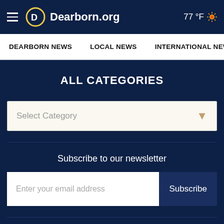Dearborn.org — 77 °F
DEARBORN NEWS   LOCAL NEWS   INTERNATIONAL NEWS
ALL CATEGORIES
Select Category
Subscribe to our newsletter
Enter your email address
Subscribe